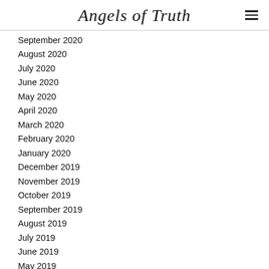Angels of Truth
September 2020
August 2020
July 2020
June 2020
May 2020
April 2020
March 2020
February 2020
January 2020
December 2019
November 2019
October 2019
September 2019
August 2019
July 2019
June 2019
May 2019